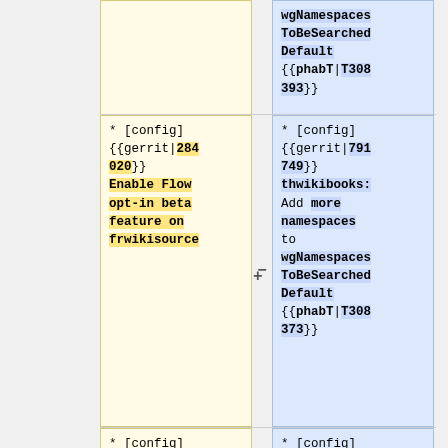| (removed) | (added) |
| --- | --- |
| wgNamespacesToBeSearchedDefault {{phabT|T308 393}} | wgNamespacesToBeSearchedDefault {{phabT|T308 393}} |
| * [config] {{gerrit|284 020}} Enable Flow opt-in beta feature on frwikisource | * [config] {{gerrit|791 749}} thwikibooks: Add more namespaces to wgNamespacesToBeSearchedDefault {{phabT|T308 373}} |
| * [config] {{gerrit|284 515}} Prepare for | * [config] {{gerrit|791 718}} thwikibooks: |